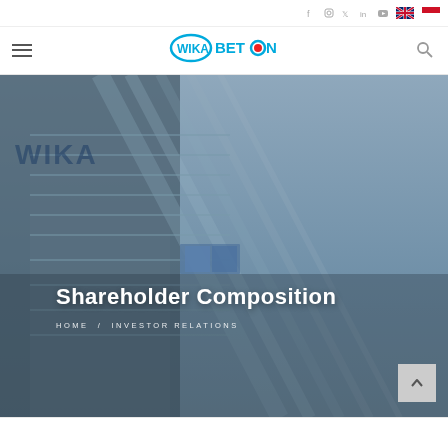WIKA BETON - Shareholder Composition
[Figure (screenshot): WIKA BETON website header with navigation bar showing hamburger menu on left, WIKA BETON logo in center, social media icons (Facebook, Instagram, Twitter, LinkedIn, YouTube) and language flags (UK, Indonesia) top right, and search icon right.]
[Figure (photo): Hero banner image showing a modern building exterior with angular architecture and glass panels in blue tones against a grey cloudy sky. Overlaid white text reads 'Shareholder Composition' with breadcrumb navigation 'HOME / INVESTOR RELATIONS' below.]
Shareholder Composition
HOME / INVESTOR RELATIONS